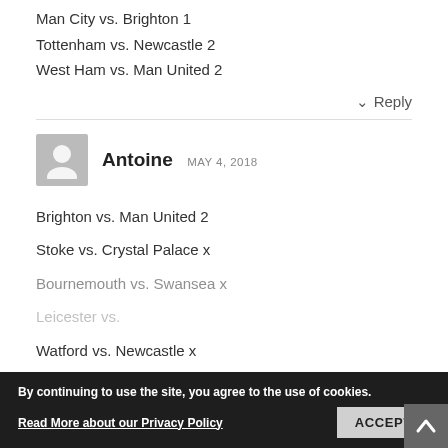Man City vs. Brighton 1
Tottenham vs. Newcastle 2
West Ham vs. Man United 2
↓ Reply
Antoine  MAY 4, 2018
Brighton vs. Man United 2
Stoke vs. Crystal Palace x
Bournemouth vs. Swansea x
Leicester vs. ... x
Watford vs. Newcastle x
By continuing to use the site, you agree to the use of cookies.
Read More about our Privacy Policy   ACCEPT